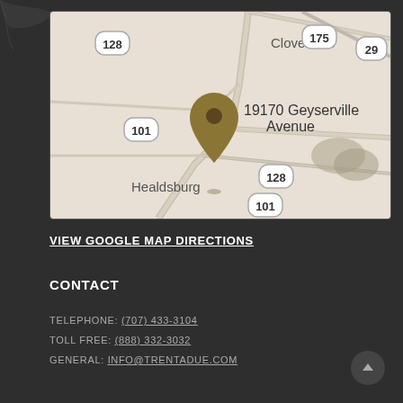[Figure (map): Google Map showing location pin at 19170 Geyserville Avenue, near Cloverdale and Healdsburg, California, with highway markers 101, 128, 175, and 29 visible.]
VIEW GOOGLE MAP DIRECTIONS
CONTACT
TELEPHONE: (707) 433-3104
TOLL FREE: (888) 332-3032
GENERAL: INFO@TRENTADUE.COM